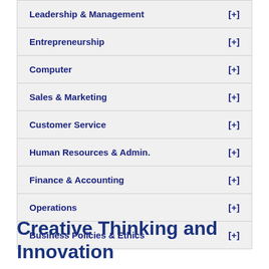Leadership & Management [+]
Entrepreneurship [+]
Computer [+]
Sales & Marketing [+]
Customer Service [+]
Human Resources & Admin. [+]
Finance & Accounting [+]
Operations [+]
Business Policies & Ethics [+]
Creative Thinking and Innovation